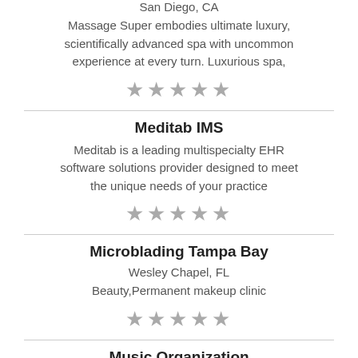San Diego, CA
Massage Super embodies ultimate luxury, scientifically advanced spa with uncommon experience at every turn. Luxurious spa,
★★★★★
Meditab IMS
Meditab is a leading multispecialty EHR software solutions provider designed to meet the unique needs of your practice
★★★★★
Microblading Tampa Bay
Wesley Chapel, FL
Beauty,Permanent makeup clinic
★★★★★
Music Organization